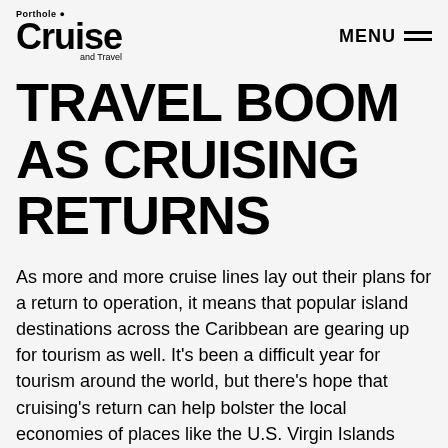Porthole Cruise and Travel — MENU
TRAVEL BOOM AS CRUISING RETURNS
As more and more cruise lines lay out their plans for a return to operation, it means that popular island destinations across the Caribbean are gearing up for tourism as well. It's been a difficult year for tourism around the world, but there's hope that cruising's return can help bolster the local economies of places like the U.S. Virgin Islands who rely on tourism to get by.